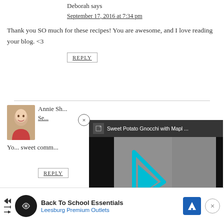Deborah says
September 17, 2016 at 7:34 pm
Thank you SO much for these recipes! You are awesome, and I love reading your blog. <3
REPLY
Annie Sh...
Se...
Yo... sweet comm...
REPLY
[Figure (screenshot): Video overlay popup showing 'Sweet Potato Gnocchi with Mapl ...' with a cyan/teal play button logo on grey background]
[Figure (screenshot): Advertisement banner for 'Back To School Essentials - Leesburg Premium Outlets' with logo and navigation icon]